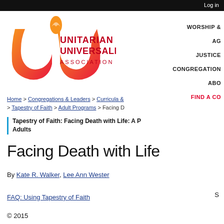Log in
[Figure (logo): Unitarian Universalist Association logo with flame icon and red text reading UNITARIAN UNIVERSALIST ASSOCIATION]
WORSHIP & | AG | JUSTICE | CONGREGATION | ABO | FIND A CO
Home > Congregations & Leaders > Curricula & > Tapestry of Faith > Adult Programs > Facing D
Tapestry of Faith: Facing Death with Life: A P Adults
Facing Death with Life
By Kate R. Walker, Lee Ann Wester
FAQ: Using Tapestry of Faith
© 2015